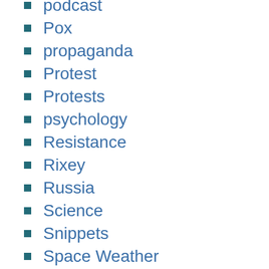podcast
Pox
propaganda
Protest
Protests
psychology
Resistance
Rixey
Russia
Science
Snippets
Space Weather
The 9th of AV
Third Temple
TLAV
Tweet Digest
Ukraine
vaccines
volcanoes
woo-woo
WW3